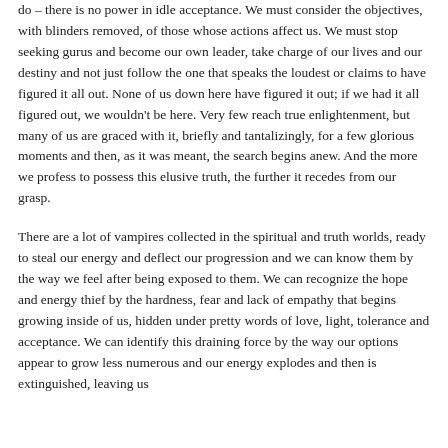do – there is no power in idle acceptance. We must consider the objectives, with blinders removed, of those whose actions affect us. We must stop seeking gurus and become our own leader, take charge of our lives and our destiny and not just follow the one that speaks the loudest or claims to have figured it all out. None of us down here have figured it out; if we had it all figured out, we wouldn't be here. Very few reach true enlightenment, but many of us are graced with it, briefly and tantalizingly, for a few glorious moments and then, as it was meant, the search begins anew. And the more we profess to possess this elusive truth, the further it recedes from our grasp.
There are a lot of vampires collected in the spiritual and truth worlds, ready to steal our energy and deflect our progression and we can know them by the way we feel after being exposed to them. We can recognize the hope and energy thief by the hardness, fear and lack of empathy that begins growing inside of us, hidden under pretty words of love, light, tolerance and acceptance. We can identify this draining force by the way our options appear to grow less numerous and our energy explodes and then is extinguished, leaving us